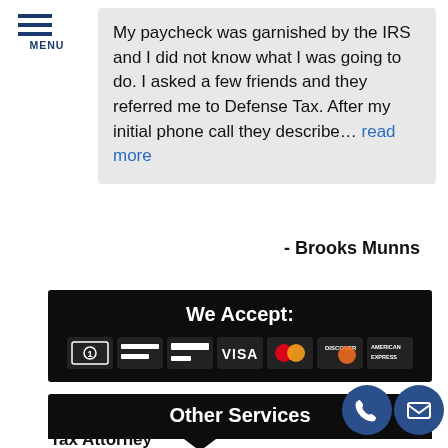[Figure (infographic): Hamburger menu icon with three horizontal blue lines and MENU label beneath]
My paycheck was garnished by the IRS and I did not know what I was going to do. I asked a few friends and they referred me to Defense Tax. After my initial phone call they describe… read more
- Brooks Munns
[Figure (infographic): Black banner with We Accept: heading and payment method icons including cash, check, credit card, Visa, Mastercard, Discover, American Express]
Other Services
Tax Attorney